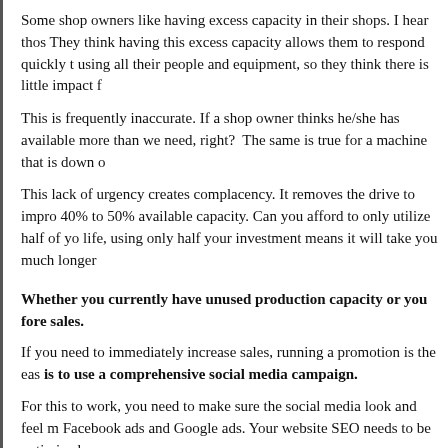Some shop owners like having excess capacity in their shops. I hear thos They think having this excess capacity allows them to respond quickly to using all their people and equipment, so they think there is little impact f
This is frequently inaccurate. If a shop owner thinks he/she has available more than we need, right?  The same is true for a machine that is down o
This lack of urgency creates complacency. It removes the drive to impro 40% to 50% available capacity. Can you afford to only utilize half of yo life, using only half your investment means it will take you much longer
Whether you currently have unused production capacity or you fore sales.
If you need to immediately increase sales, running a promotion is the eas is to use a comprehensive social media campaign.
For this to work, you need to make sure the social media look and feel m Facebook ads and Google ads. Your website SEO needs to be optimized
Remember to include video. I continue to be amazed at the stories I hear seeing your process in action.